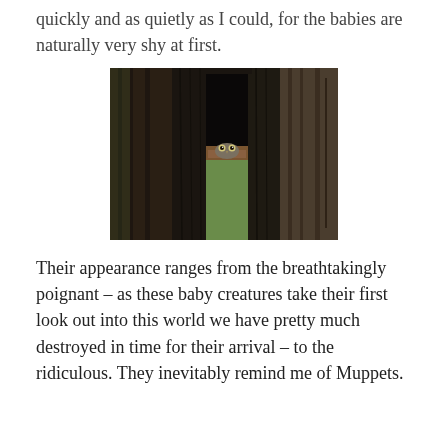quickly and as quietly as I could, for the babies are naturally very shy at first.
[Figure (photo): A small owl peering out from a dark wooden nest box mounted on or near a large tree trunk. The owl's eyes are just visible above the lower edge of the box opening. Background shows green foliage.]
Their appearance ranges from the breathtakingly poignant – as these baby creatures take their first look out into this world we have pretty much destroyed in time for their arrival – to the ridiculous. They inevitably remind me of Muppets.